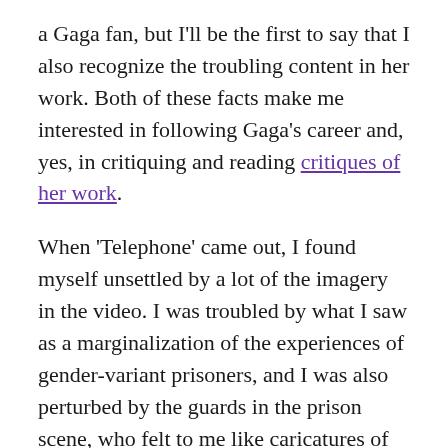a Gaga fan, but I'll be the first to say that I also recognize the troubling content in her work. Both of these facts make me interested in following Gaga's career and, yes, in critiquing and reading critiques of her work.
When 'Telephone' came out, I found myself unsettled by a lot of the imagery in the video. I was troubled by what I saw as a marginalization of the experiences of gender-variant prisoners, and I was also perturbed by the guards in the prison scene, who felt to me like caricatures of trans women. I wasn't the only person to notice this, and thus I was quite excited when gudbuytjane wrote about the video.
She put it this way:
Her anxiety at being seen as trans is clear